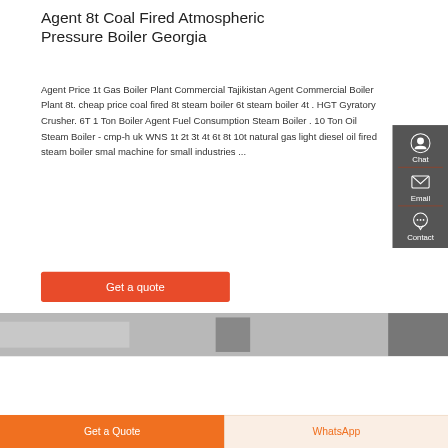Agent 8t Coal Fired Atmospheric Pressure Boiler Georgia
Agent Price 1t Gas Boiler Plant Commercial Tajikistan Agent Commercial Boiler Plant 8t. cheap price coal fired 8t steam boiler 6t steam boiler 4t . HGT Gyratory Crusher. 6T 1 Ton Boiler Agent Fuel Consumption Steam Boiler . 10 Ton Oil Steam Boiler - cmp-h uk WNS 1t 2t 3t 4t 6t 8t 10t natural gas light diesel oil fired steam boiler smal machine for small industries ...
[Figure (other): Red 'Get a quote' button]
[Figure (photo): Partial photo of industrial boiler equipment, grayscale]
[Figure (other): Sidebar with Chat, Email, Contact icons on dark gray background]
[Figure (other): Bottom bar with orange 'Get a Quote' button and light 'WhatsApp' button]